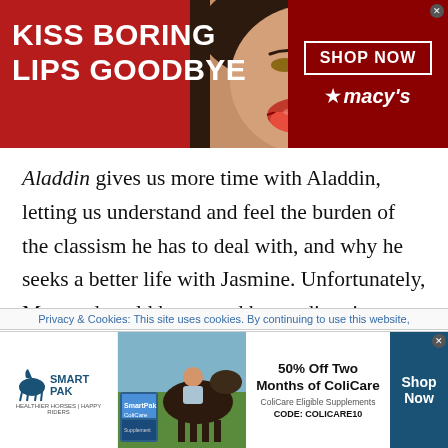[Figure (infographic): Macy's advertisement banner with red background, woman's face with red lips, text 'KISS BORING LIPS GOODBYE', 'SHOP NOW' button, and Macy's star logo]
Aladdin gives us more time with Aladdin, letting us understand and feel the burden of the classism he has to deal with, and why he seeks a better life with Jasmine. Unfortunately, Massoud could have used better direction. While we feel for him, he is also not as emotive and energetic as he should be. There are scenes in which he appears bored when he should be full
Privacy & Cookies: This site uses cookies. By continuing to use this website,
[Figure (infographic): SmartPak advertisement with horse and rider image, '50% Off Two Months of ColiCare', 'ColiCare Eligible Supplements', 'CODE: COLICARE10', 'Shop Now' button]